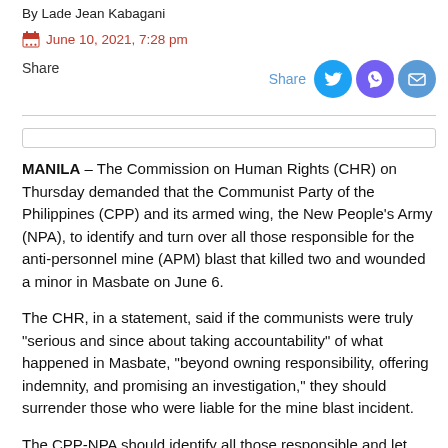By Lade Jean Kabagani
June 10, 2021, 7:28 pm
Share
MANILA – The Commission on Human Rights (CHR) on Thursday demanded that the Communist Party of the Philippines (CPP) and its armed wing, the New People's Army (NPA), to identify and turn over all those responsible for the anti-personnel mine (APM) blast that killed two and wounded a minor in Masbate on June 6.
The CHR, in a statement, said if the communists were truly "serious and since about taking accountability" of what happened in Masbate, "beyond owning responsibility, offering indemnity, and promising an investigation," they should surrender those who were liable for the mine blast incident.
The CPP-NPA should identify all those responsible and let them face justice within the court system," the CHR said, adding the communists should be held accountable for all other crimes they